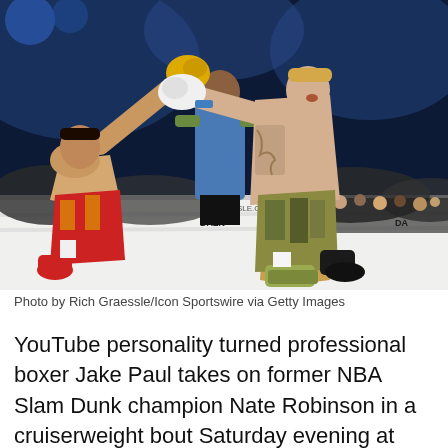[Figure (photo): Boxing match photo showing two shirtless fighters in a boxing ring. The fighter on the left wears red and yellow trunks and yellow gloves. The fighter on the right, Jake Paul, has tattoos on his arm, wears camouflage shorts and white gloves, and is throwing a punch. A referee in a blue shirt stands in the background. The arena is lit with blue lights and spectators are visible ringside. DAZN logos appear on the ring ropes.]
Photo by Rich Graessle/Icon Sportswire via Getty Images
YouTube personality turned professional boxer Jake Paul takes on former NBA Slam Dunk champion Nate Robinson in a cruiserweight bout Saturday evening at STAPLES Center. Image alt text: Paul...